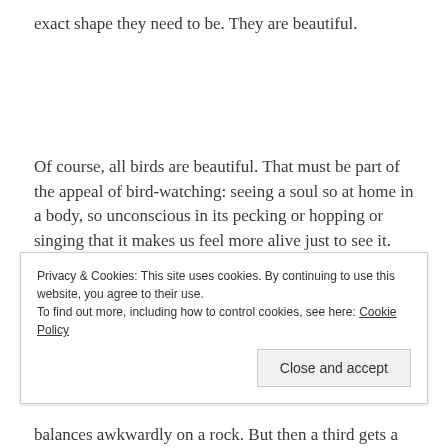exact shape they need to be. They are beautiful.
Of course, all birds are beautiful. That must be part of the appeal of bird-watching: seeing a soul so at home in a body, so unconscious in its pecking or hopping or singing that it makes us feel more alive just to see it.
In one part of the movie the filmmaker followed juvenile
Privacy & Cookies: This site uses cookies. By continuing to use this website, you agree to their use.
To find out more, including how to control cookies, see here: Cookie Policy
Close and accept
balances awkwardly on a rock. But then a third gets a